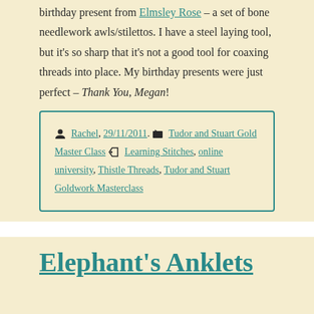birthday present from Elmsley Rose – a set of bone needlework awls/stilettos. I have a steel laying tool, but it's so sharp that it's not a good tool for coaxing threads into place. My birthday presents were just perfect – Thank You, Megan!
Rachel, 29/11/2011. Tudor and Stuart Gold Master Class   Learning Stitches, online university, Thistle Threads, Tudor and Stuart Goldwork Masterclass
Elephant's Anklets